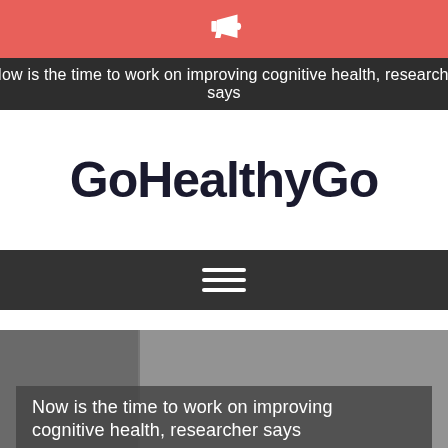Now is the time to work on improving cognitive health, researcher says
GoHealthyGo
[Figure (other): Hamburger menu icon (three horizontal white lines) on dark background navigation bar]
[Figure (photo): Grayscale photo of people in a room, partially visible]
Now is the time to work on improving cognitive health, researcher says